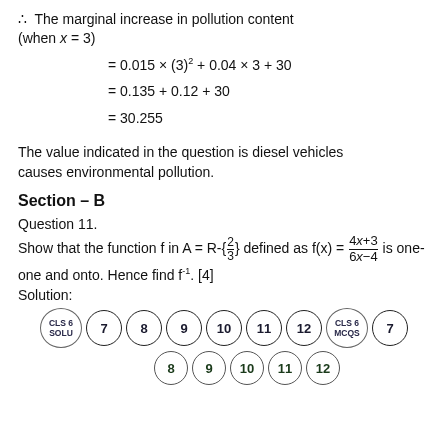∴ The marginal increase in pollution content (when x = 3)
The value indicated in the question is diesel vehicles causes environmental pollution.
Section – B
Question 11.
Show that the function f in A = R-{2/3} defined as f(x) = (4x+3)/(6x-4) is one-one and onto. Hence find f⁻¹. [4]
Solution:
[Figure (other): Navigation circles row 1: CLS6 SOLU, 7, 8, 9, 10, 11, 12, CLS6 MCQS, 7]
[Figure (other): Navigation circles row 2: 8, 9, 10, 11, 12]